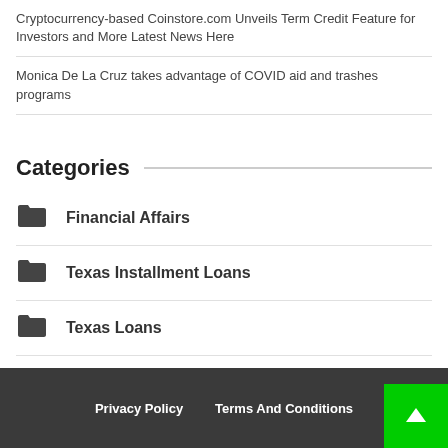Cryptocurrency-based Coinstore.com Unveils Term Credit Feature for Investors and More Latest News Here
Monica De La Cruz takes advantage of COVID aid and trashes programs
Categories
Financial Affairs
Texas Installment Loans
Texas Loans
Texas Payday Loans
Texas Title Loans
Privacy Policy   Terms And Conditions